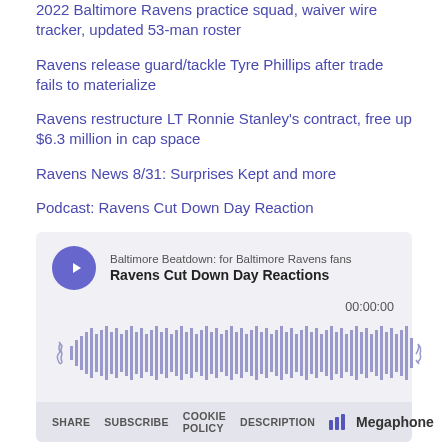2022 Baltimore Ravens practice squad, waiver wire tracker, updated 53-man roster
Ravens release guard/tackle Tyre Phillips after trade fails to materialize
Ravens restructure LT Ronnie Stanley's contract, free up $6.3 million in cap space
Ravens News 8/31: Surprises Kept and more
Podcast: Ravens Cut Down Day Reaction
[Figure (other): Embedded podcast player for 'Ravens Cut Down Day Reactions' by Baltimore Beatdown: for Baltimore Ravens fans. Shows a play button, waveform visualization, timestamp 00:00:00, and footer with SHARE, SUBSCRIBE, COOKIE POLICY, DESCRIPTION links and Megaphone branding.]
IN THIS PLAYLIST   474 EPISODES